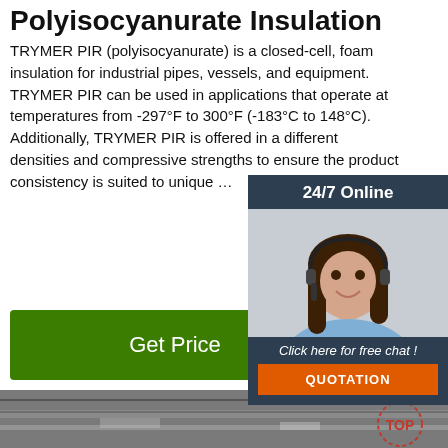Polyisocyanurate Insulation
TRYMER PIR (polyisocyanurate) is a closed-cell, foam insulation for industrial pipes, vessels, and equipment. TRYMER PIR can be used in applications that operate at temperatures from -297°F to 300°F (-183°C to 148°C). Additionally, TRYMER PIR is offered in a different densities and compressive strengths to ensure the product consistency is suited to unique …
[Figure (illustration): Chat widget with woman wearing headset, '24/7 Online' header, 'Click here for free chat!' text, and orange QUOTATION button]
Get Price
[Figure (photo): Industrial insulation panels or metal sheets in a warehouse/factory setting, with a TOP logo badge in the lower right]